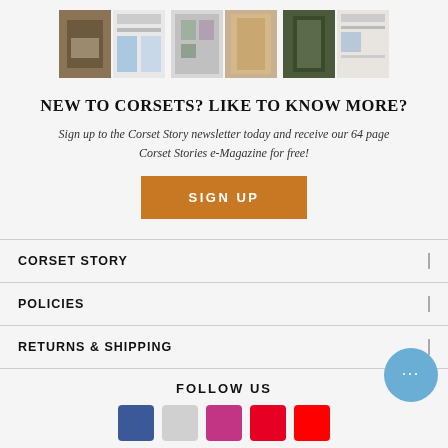[Figure (photo): Six thumbnail images of corset fashion editorial photos and magazine pages arranged in three pairs]
NEW TO CORSETS? LIKE TO KNOW MORE?
Sign up to the Corset Story newsletter today and receive our 64 page Corset Stories e-Magazine for free!
SIGN UP
CORSET STORY
POLICIES
RETURNS & SHIPPING
FOLLOW US
[Figure (logo): Social media icons for Facebook, Twitter/X, Instagram, Pinterest, and YouTube partially visible at bottom]